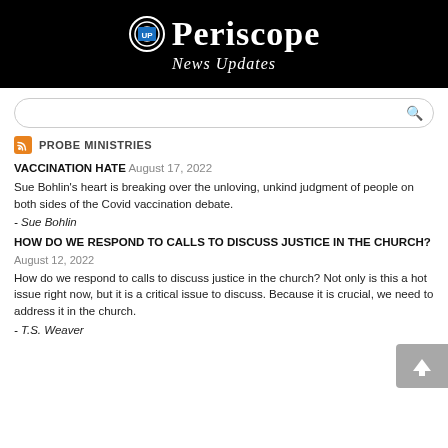[Figure (logo): Periscope News Updates banner with logo on black background]
[Figure (other): Search bar with magnifying glass icon]
PROBE MINISTRIES
VACCINATION HATE August 17, 2022
Sue Bohlin's heart is breaking over the unloving, unkind judgment of people on both sides of the Covid vaccination debate.
- Sue Bohlin
HOW DO WE RESPOND TO CALLS TO DISCUSS JUSTICE IN THE CHURCH?
August 12, 2022
How do we respond to calls to discuss justice in the church? Not only is this a hot issue right now, but it is a critical issue to discuss. Because it is crucial, we need to address it in the church.
- T.S. Weaver